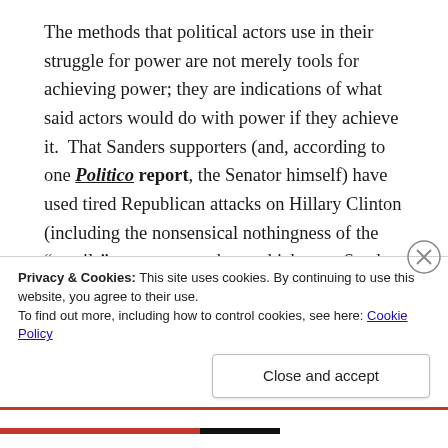The methods that political actors use in their struggle for power are not merely tools for achieving power; they are indications of what said actors would do with power if they achieve it.  That Sanders supporters (and, according to one Politico report, the Senator himself) have used tired Republican attacks on Hillary Clinton (including the nonsensical nothingness of the “emails” controversy, about which even Sanders said he was “sick and tired of hearing”), shows what a Sanders “revolution” would have looked like had it gained the nomination.  A Sanders campaign in the general election may well have turned from the morality of making our nation a better place
Privacy & Cookies: This site uses cookies. By continuing to use this website, you agree to their use.
To find out more, including how to control cookies, see here: Cookie Policy
Close and accept